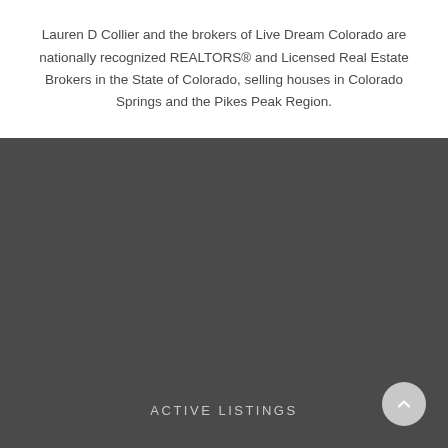Lauren D Collier and the brokers of Live Dream Colorado are nationally recognized REALTORS® and Licensed Real Estate Brokers in the State of Colorado, selling houses in Colorado Springs and the Pikes Peak Region.
[Figure (other): Dark gray background section filling the lower portion of the page]
ACTIVE LISTINGS